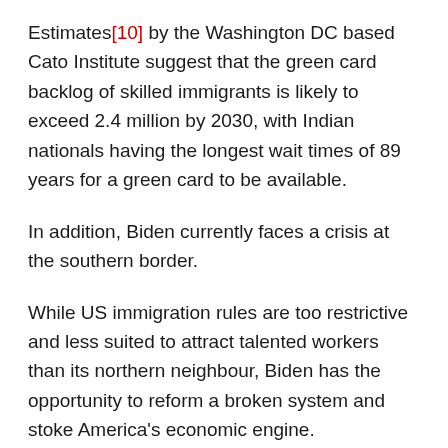Estimates[10] by the Washington DC based Cato Institute suggest that the green card backlog of skilled immigrants is likely to exceed 2.4 million by 2030, with Indian nationals having the longest wait times of 89 years for a green card to be available.
In addition, Biden currently faces a crisis at the southern border.
While US immigration rules are too restrictive and less suited to attract talented workers than its northern neighbour, Biden has the opportunity to reform a broken system and stoke America's economic engine.
Immigration reform focused on making the United States